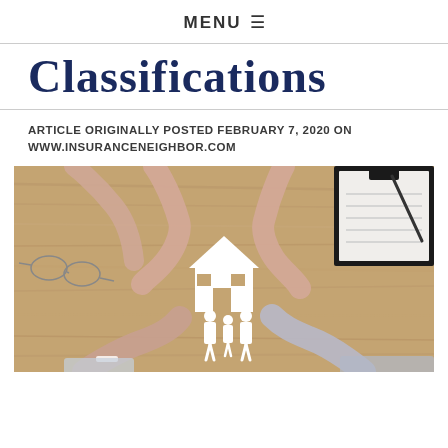MENU ≡
Classifications
ARTICLE ORIGINALLY POSTED FEBRUARY 7, 2020 ON WWW.INSURANCENEIGHBOR.COM
[Figure (photo): Overhead view of multiple hands encircling white paper cutout figures of a house and family on a wooden table, with glasses and a clipboard visible at the edges.]